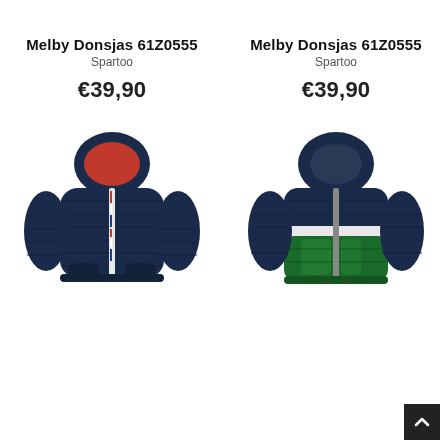Melby Donsjas 61Z0555
Spartoo
€39,90
Melby Donsjas 61Z0555
Spartoo
€39,90
[Figure (photo): Navy blue children's puffer jacket with red zip detail and hood]
[Figure (photo): Navy blue and green children's puffer jacket with white stripe and hood]